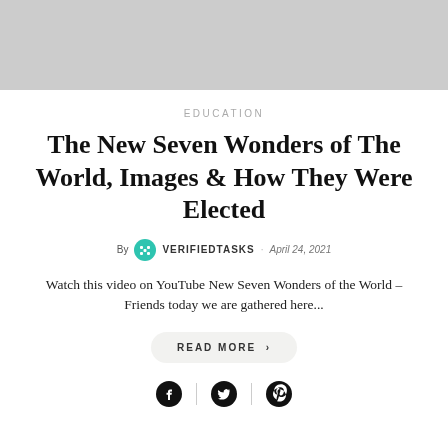[Figure (photo): Gray placeholder image at the top of the article card]
EDUCATION
The New Seven Wonders of The World, Images & How They Were Elected
By VERIFIEDTASKS · April 24, 2021
Watch this video on YouTube New Seven Wonders of the World – Friends today we are gathered here...
READ MORE >
[Figure (other): Social share icons: Facebook, Twitter, Pinterest]